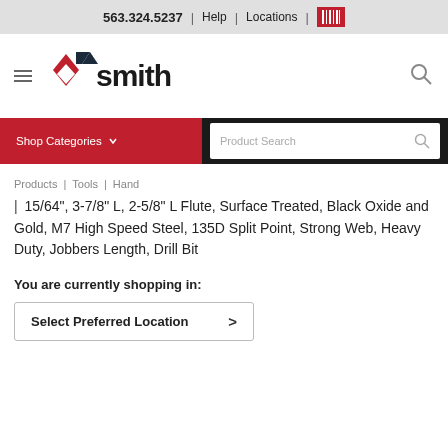563.324.5237 | Help | Locations |
[Figure (logo): Smith company logo with red diamond/arrow shapes and dark blue text]
[Figure (infographic): Navigation bar with Shop Categories button in red and Product Search box]
Products | Tools | Hand
| 15/64", 3-7/8" L, 2-5/8" L Flute, Surface Treated, Black Oxide and Gold, M7 High Speed Steel, 135D Split Point, Strong Web, Heavy Duty, Jobbers Length, Drill Bit
You are currently shopping in:
Select Preferred Location >